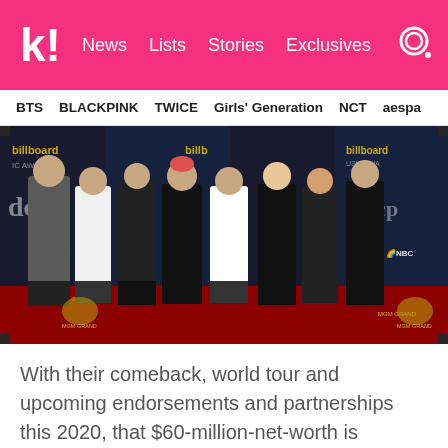Koreaboo | News | Lists | Stories | Exclusives
BTS  BLACKPINK  TWICE  Girls' Generation  NCT  aespa
[Figure (photo): BTS members posing on the red carpet at the Billboard Music Awards, in front of Billboard and NBC branded backdrops, MGM Grand venue. Members dressed in black suits, one in a grey patterned suit.]
With their comeback, world tour and upcoming endorsements and partnerships this 2020, that $60-million-net-worth is guaranteed to increase.